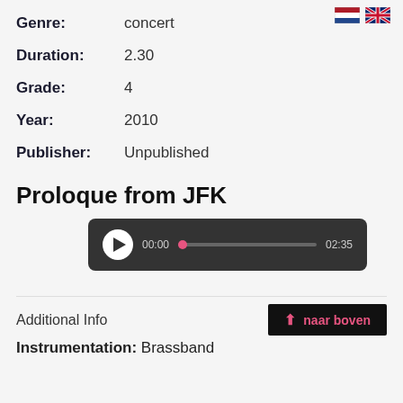[Figure (other): Dutch and UK flag icons in top right corner]
Genre: concert
Duration: 2.30
Grade: 4
Year: 2010
Publisher: Unpublished
Proloque from JFK
[Figure (other): Audio player with play button, time 00:00, progress bar with pink dot at start, end time 02:35]
Additional Info
Instrumentation: Brassband